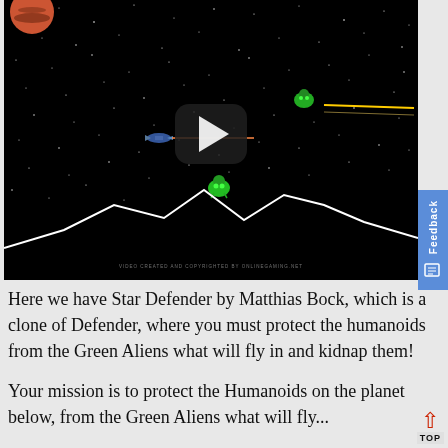[Figure (screenshot): Screenshot of Star Defender video game showing a space scene with black background, white stars, a spaceship, green alien, terrain mountains at the bottom, and a YouTube-style play button overlay. A red/blue feedback tab appears on the right edge.]
Here we have Star Defender by Matthias Bock, which is a clone of Defender, where you must protect the humanoids from the Green Aliens what will fly in and kidnap them!
Your mission is to protect the Humanoids on the planet below, from the Green Aliens what will fly...